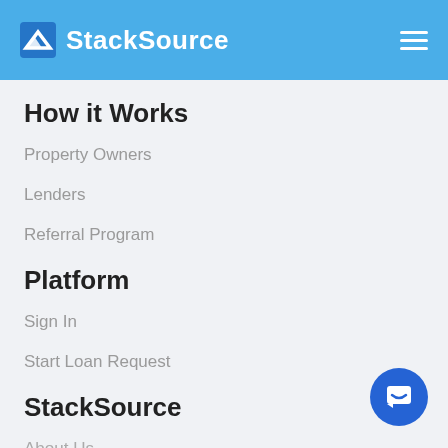StackSource
How it Works
Property Owners
Lenders
Referral Program
Platform
Sign In
Start Loan Request
StackSource
About Us